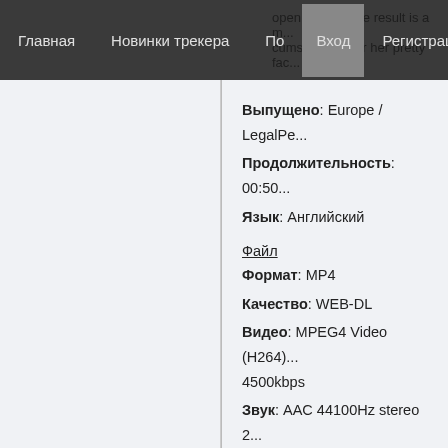Главная   Новинки трекера   По   Вход   Регистрация
open mouth! The result is a m... cumshot all over her pretty fac...
Выпущено: Europe / LegalPe...
Продолжительность: 00:50...
Язык: Английский
Файл
Формат: MP4
Качество: WEB-DL
Видео: MPEG4 Video (H264) 4500kbps
Звук: AAC 44100Hz stereo 2...
Скриншоты:
[Figure (photo): Screenshot thumbnail collage showing adult video content]